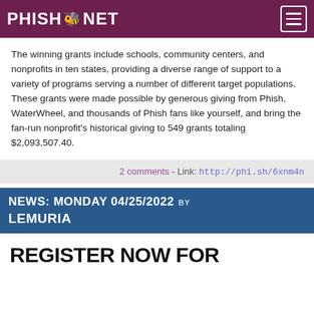PHISH.NET
The winning grants include schools, community centers, and nonprofits in ten states, providing a diverse range of support to a variety of programs serving a number of different target populations. These grants were made possible by generous giving from Phish, WaterWheel, and thousands of Phish fans like yourself, and bring the fan-run nonprofit's historical giving to 549 grants totaling $2,093,507.40.
2 comments - Link: http://phi.sh/6xnm4n
NEWS: MONDAY 04/25/2022 BY LEMURIA
REGISTER NOW FOR